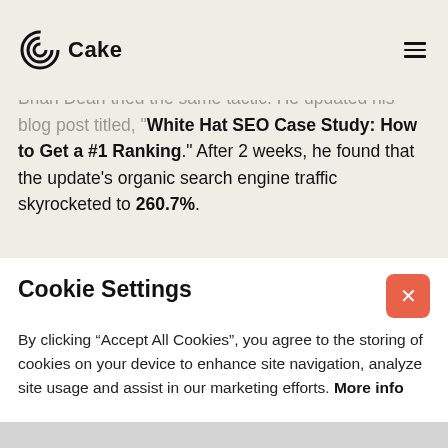Cake
Brian Dean tried the same tactic. He updated his blog post titled, "White Hat SEO Case Study: How to Get a #1 Ranking." After 2 weeks, he found that the update's organic search engine traffic skyrocketed to 260.7%.
Cookie Settings
By clicking "Accept All Cookies", you agree to the storing of cookies on your device to enhance site navigation, analyze site usage and assist in our marketing efforts. More info
Accept All Cookies
Cookie Settings